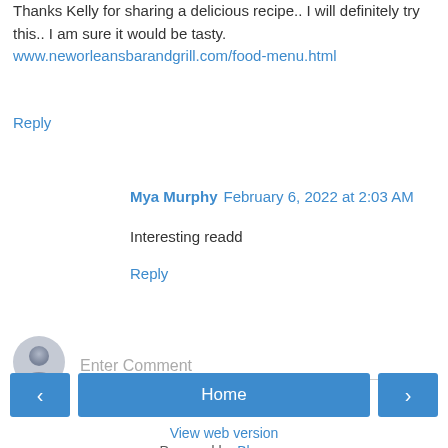Thanks Kelly for sharing a delicious recipe.. I will definitely try this.. I am sure it would be tasty. www.neworleansbarandgrill.com/food-menu.html
Reply
Mya Murphy  February 6, 2022 at 2:03 AM
Interesting readd
Reply
[Figure (other): Enter Comment input field with user avatar]
Home navigation bar with left arrow, Home button, and right arrow
View web version
Powered by Blogger.